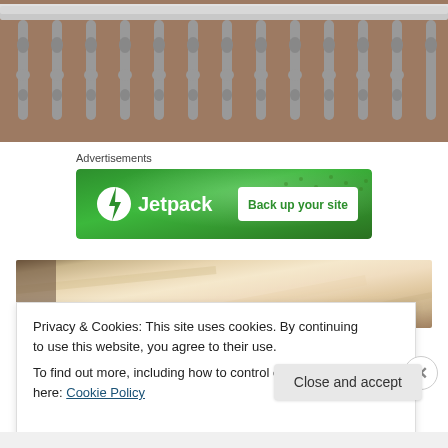[Figure (photo): Photo of decorative metal stair railing/balustrade spindles with ornate turned balusters, brick background visible behind]
Advertisements
[Figure (other): Jetpack advertisement banner on green background with 'Back up your site' button]
[Figure (photo): Partial photo of a painting or artwork with warm beige/cream tones]
Privacy & Cookies: This site uses cookies. By continuing to use this website, you agree to their use.
To find out more, including how to control cookies, see here: Cookie Policy
Close and accept